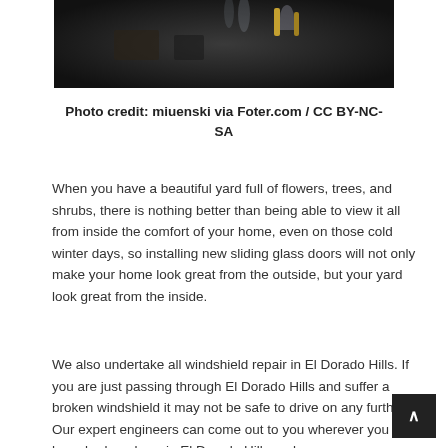[Figure (photo): Dark interior photo showing a dining/bar scene with glassware, bottles, and dim lighting on a table.]
Photo credit: miuenski via Foter.com / CC BY-NC-SA
When you have a beautiful yard full of flowers, trees, and shrubs, there is nothing better than being able to view it all from inside the comfort of your home, even on those cold winter days, so installing new sliding glass doors will not only make your home look great from the outside, but your yard look great from the inside.
We also undertake all windshield repair in El Dorado Hills. If you are just passing through El Dorado Hills and suffer a broken windshield it may not be safe to drive on any further. Our expert engineers can come out to you wherever you have broken down in El Dorado Hills and